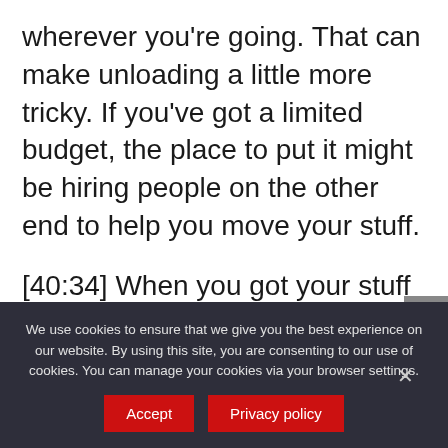wherever you're going. That can make unloading a little more tricky. If you've got a limited budget, the place to put it might be hiring people on the other end to help you move your stuff.
[40:34] When you got your stuff into your house (I'm remembering right now walking 65 boxes up the stairs), unpack the boxes that you labeled to be unpacked first and let the others wait. You don't need to get your
We use cookies to ensure that we give you the best experience on our website. By using this site, you are consenting to our use of cookies. You can manage your cookies via your browser settings.
Accept
Privacy policy